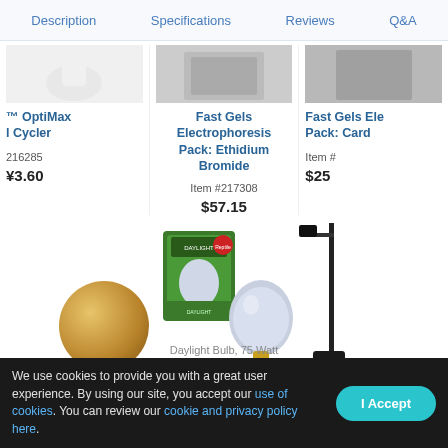Description | Specifications | Reviews | Q&A
™ OptiMax l Cycler
Fast Gels Electrophoresis Pack: Ethidium Bromide
Fast Gels Ele Pack: Card
216285
Item #217308
Item #
¥3.60
$57.15
$25
[Figure (photo): Copper/gold round object, partial view on left side]
[Figure (photo): Daylight bulb product box with light bulb (Exo Terra Daylight Bulb, 75 Watt)]
[Figure (photo): Lamp stand, partial view on right side]
Daylight Bulb, 75 Watt
We use cookies to provide you with a great user experience. By using our site, you accept our use of cookies. You can review our cookie and privacy policy here.
I Accept